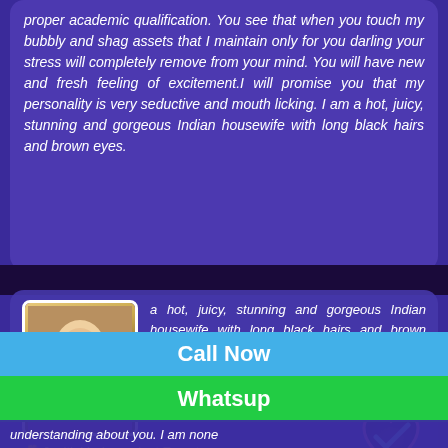proper academic qualification. You see that when you touch my bubbly and shag assets that I maintain only for you darling your stress will completely remove from your mind. You will have new and fresh feeling of excitement.I will promise you that my personality is very seductive and mouth licking. I am a hot, juicy, stunning and gorgeous Indian housewife with long black hairs and brown eyes.
Jagitial Independent Escorts
Call Me
Whatsapp Me
Palak 21
Teen Escorts
Tonk Road, Jagitial
[Figure (illustration): Verified badge with heart shape, pink border, dark blue interior, white checkmark, text VERIFIED]
Call Now
Whatsup
understanding about you. I am none